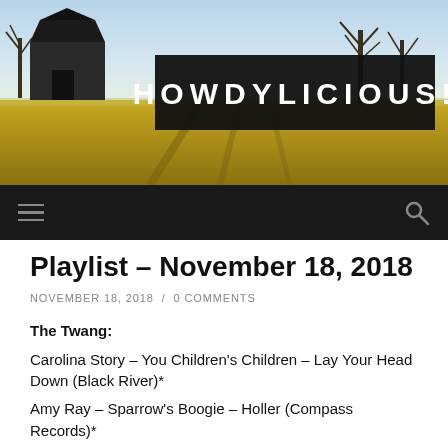[Figure (photo): Rural landscape with barn and bare trees, golden field with shadows, used as website header background. Black banner overlay with white bold text 'HOWDYLICIOUS!']
HOWDYLICIOUS!
Playlist – November 18, 2018
NOVEMBER 18, 2018 / 0 COMMENTS
The Twang:
Carolina Story – You Children's Children – Lay Your Head Down (Black River)*
Amy Ray – Sparrow's Boogie – Holler (Compass Records)*
Mandolin Brothers Story – The Other Sl...